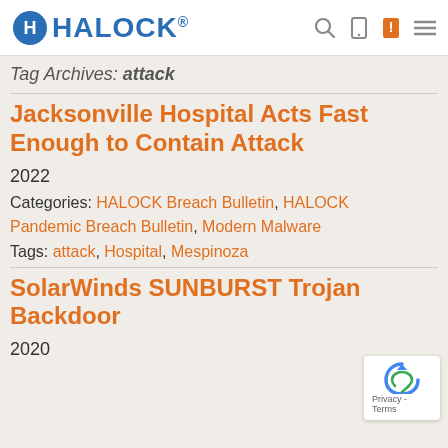HALOCK (logo)
Tag Archives: attack
Jacksonville Hospital Acts Fast Enough to Contain Attack
2022
Categories: HALOCK Breach Bulletin, HALOCK Pandemic Breach Bulletin, Modern Malware
Tags: attack, Hospital, Mespinoza
SolarWinds SUNBURST Trojan Backdoor
2020